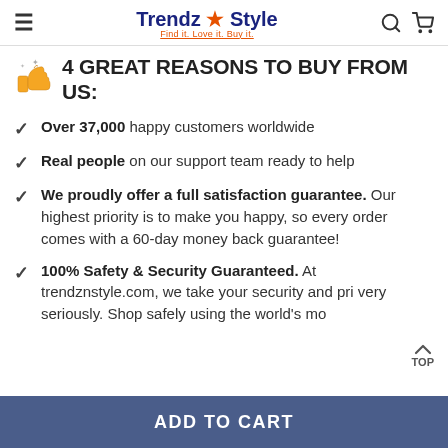Trendz & Style — Find it. Love it. Buy it.
4 GREAT REASONS TO BUY FROM US:
Over 37,000 happy customers worldwide
Real people on our support team ready to help
We proudly offer a full satisfaction guarantee. Our highest priority is to make you happy, so every order comes with a 60-day money back guarantee!
100% Safety & Security Guaranteed. At trendznstyle.com, we take your security and privacy very seriously. Shop safely using the world's mo
ADD TO CART